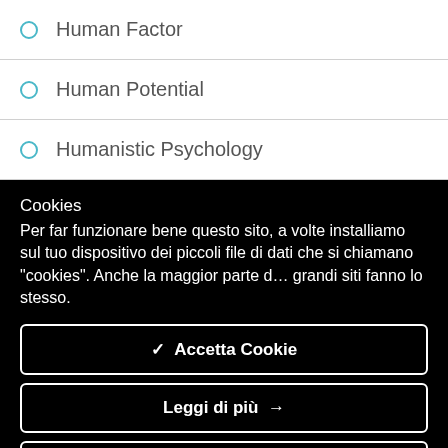Human Factor
Human Potential
Humanistic Psychology
Cookies
Per far funzionare bene questo sito, a volte installiamo sul tuo dispositivo dei piccoli file di dati che si chiamano "cookies". Anche la maggior parte dei grandi siti fanno lo stesso.
✔  Accetta Cookie
Leggi di più →
Impostazioni Cookie ⚙